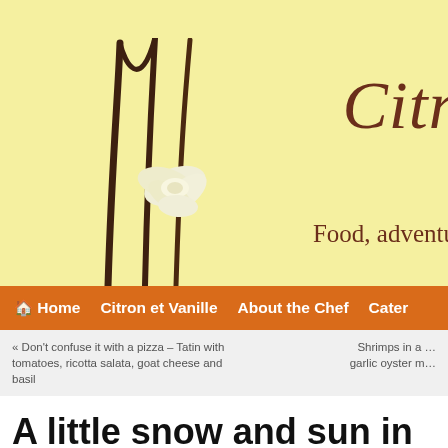[Figure (illustration): Website header banner with yellow/cream background, vanilla bean pods and white orchid flower illustration on the left. On the right, italic dark brown serif text reading 'Citr' (truncated) and below 'Food, adventu' (truncated). The top section has a plain yellow-cream bar.]
Home   Citron et Vanille   About the Chef   Cater
« Don't confuse it with a pizza – Tatin with tomatoes, ricotta salata, goat cheese and basil
Shrimps in a … garlic oyster m…
A little snow and sun in a… Yogurt mousse with man…